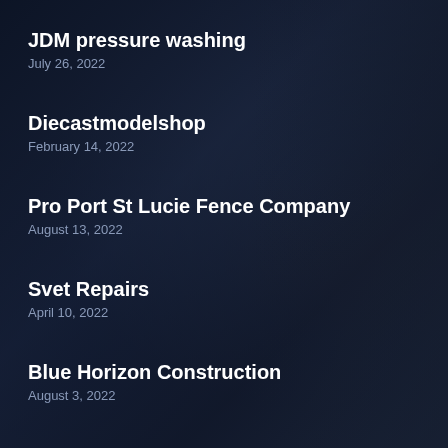JDM pressure washing
July 26, 2022
Diecastmodelshop
February 14, 2022
Pro Port St Lucie Fence Company
August 13, 2022
Svet Repairs
April 10, 2022
Blue Horizon Construction
August 3, 2022